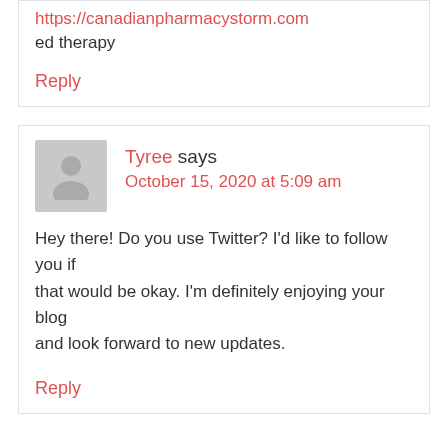https://canadianpharmacystorm.com
ed therapy
Reply
Tyree says
October 15, 2020 at 5:09 am
Hey there! Do you use Twitter? I'd like to follow you if that would be okay. I'm definitely enjoying your blog and look forward to new updates.
Reply